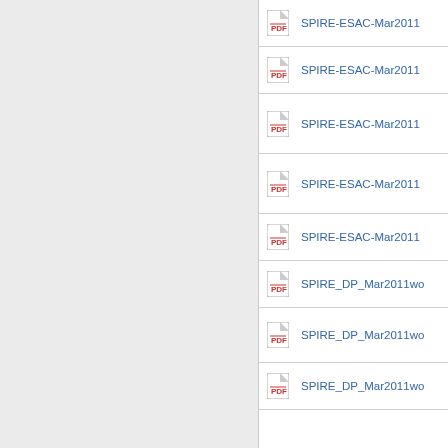SPIRE-ESAC-Mar2011
SPIRE-ESAC-Mar2011
SPIRE-ESAC-Mar2011
SPIRE-ESAC-Mar2011
SPIRE-ESAC-Mar2011
SPIRE_DP_Mar2011wo
SPIRE_DP_Mar2011wo
SPIRE_DP_Mar2011wo